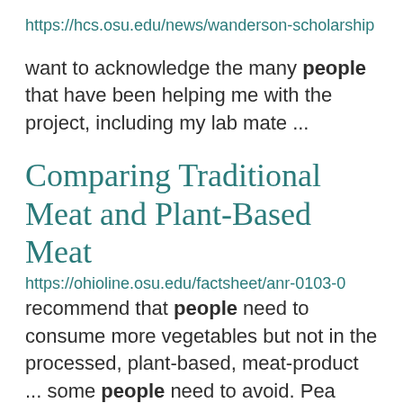https://hcs.osu.edu/news/wanderson-scholarship
want to acknowledge the many people that have been helping me with the project, including my lab mate ...
Comparing Traditional Meat and Plant-Based Meat
https://ohioline.osu.edu/factsheet/anr-0103-0
recommend that people need to consume more vegetables but not in the processed, plant-based, meat-product ... some people need to avoid. Pea protein also lacks methionine. Unprocessed pea protein also has a much ... a negative factor for